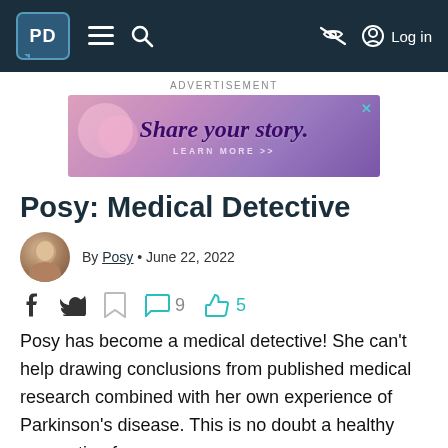PD | navigation bar with logo, hamburger, search, eye-off, and Log in
Advertisement
[Figure (illustration): Advertisement banner with purple gradient background reading 'Share your story. LEARN MORE >>']
Posy: Medical Detective
By Posy • June 22, 2022
Facebook icon, Twitter icon, Bookmark icon, Comment icon 9, Thumbs up icon 5
Posy has become a medical detective! She can't help drawing conclusions from published medical research combined with her own experience of Parkinson's disease. This is no doubt a healthy occupation for...